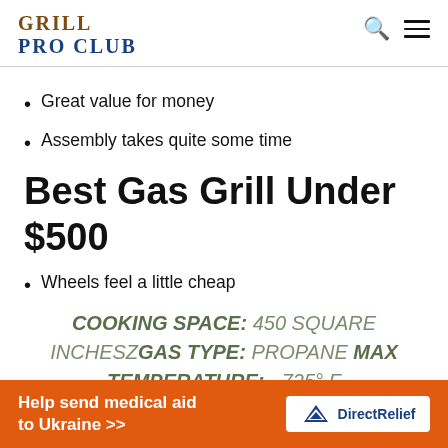GRILL PRO CLUB
Great value for money
Assembly takes quite some time
Best Gas Grill Under $500
Wheels feel a little cheap
COOKING SPACE: 450 SQUARE INCHESZGAS TYPE: PROPANE MAX TEMPERATURE: ~725° F
Help send medical aid to Ukraine >> DirectRelief